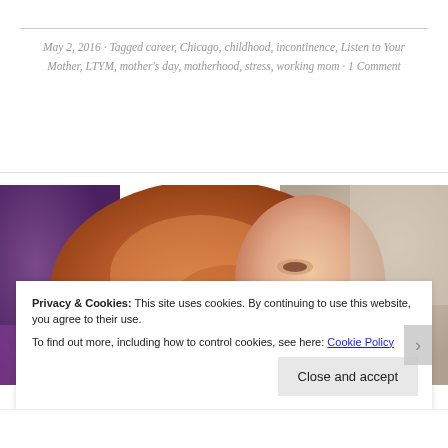May 2, 2016 · Tagged career, Chicago, childhood, incontinence, Listen to Your Mother, LTYM, mother's day, motherhood, stress, working mom · 1 Comment
[Figure (photo): Close-up photo of a red-haired woman or girl lying down, looking at the camera, with warm tones and soft focus background]
Privacy & Cookies: This site uses cookies. By continuing to use this website, you agree to their use. To find out more, including how to control cookies, see here: Cookie Policy